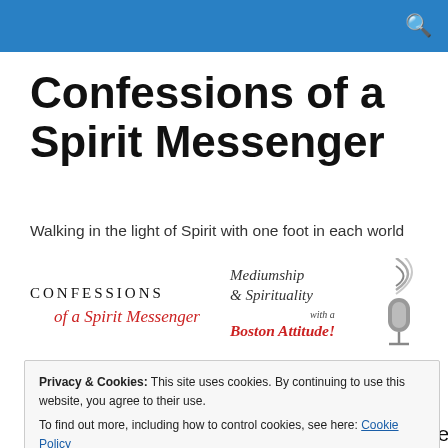Confessions of a Spirit Messenger
Walking in the light of Spirit with one foot in each world
[Figure (logo): Left logo: CONFESSIONS of a Spirit Messenger in serif/script lettering]
[Figure (logo): Right logo: Mediumship & Spirituality with a Boston Attitude! podcast logo with microphone and signal waves]
Privacy & Cookies: This site uses cookies. By continuing to use this website, you agree to their use.
To find out more, including how to control cookies, see here: Cookie Policy
Close and accept
reflection on what we've been through, learned and